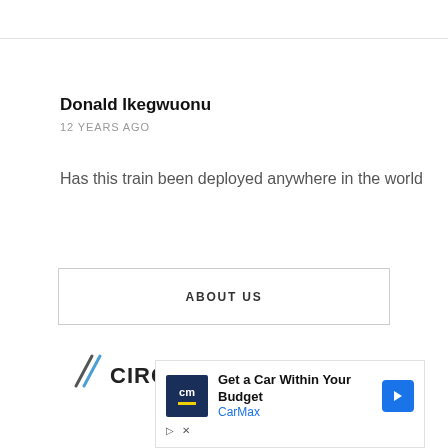Donald Ikegwuonu
12 YEARS AGO
Has this train been deployed anywhere in the world
ABOUT US
[Figure (logo): Circuits logo — diagonal lines icon and word CIRCUITS]
[Figure (screenshot): Advertisement: CarMax — Get a Car Within Your Budget]